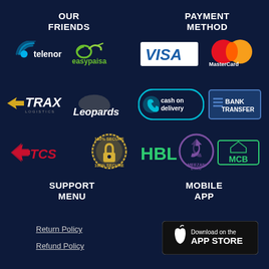OUR FRIENDS
PAYMENT METHOD
[Figure (logo): Telenor logo]
[Figure (logo): Easypaisa logo]
[Figure (logo): VISA logo]
[Figure (logo): MasterCard logo]
[Figure (logo): TRAX Logistics logo]
[Figure (logo): Leopards courier logo]
[Figure (logo): Cash on delivery badge]
[Figure (logo): Bank Transfer badge]
[Figure (logo): TCS courier logo]
[Figure (logo): 100% Secure badge]
[Figure (logo): HBL bank logo]
[Figure (logo): Meezan Bank logo]
[Figure (logo): MCB bank logo]
SUPPORT MENU
MOBILE APP
Return Policy
Refund Policy
[Figure (logo): Download on the APP STORE button]